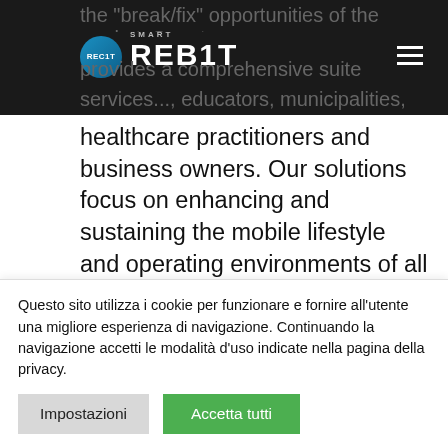[Figure (logo): SmartREB1T logo with circular blue icon and white text on dark navigation bar with hamburger menu]
healthcare practitioners and business owners. Our solutions focus on enhancing and sustaining the mobile lifestyle and operating environments of all mobile devices users.
FIND ANSWERS TO YOUR OTHER FRANCHISING FAQ
Questo sito utilizza i cookie per funzionare e fornire all'utente una migliore esperienza di navigazione. Continuando la navigazione accetti le modalità d'uso indicate nella pagina della privacy.